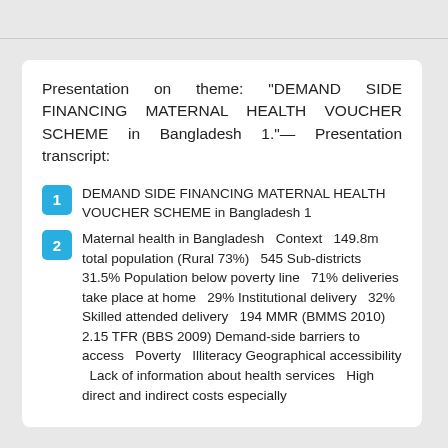Presentation on theme: "DEMAND SIDE FINANCING MATERNAL HEALTH VOUCHER SCHEME in Bangladesh 1."— Presentation transcript:
1  DEMAND SIDE FINANCING MATERNAL HEALTH VOUCHER SCHEME in Bangladesh 1
2  Maternal health in Bangladesh   Context   149.8m total population (Rural 73%)   545 Sub-districts   31.5% Population below poverty line   71% deliveries take place at home   29% Institutional delivery   32% Skilled attended delivery   194 MMR (BMMS 2010)   2.15 TFR (BBS 2009) Demand-side barriers to access   Poverty   Illiteracy   Geographical accessibility   Lack of information about health services   High direct and indirect costs especially